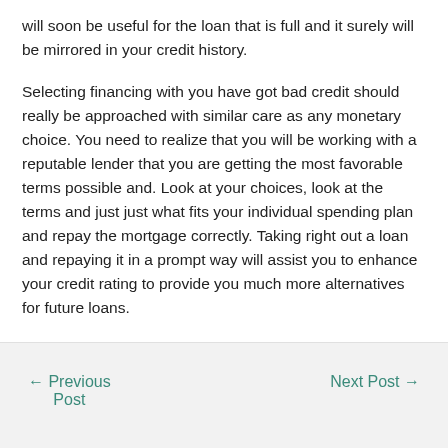will soon be useful for the loan that is full and it surely will be mirrored in your credit history.
Selecting financing with you have got bad credit should really be approached with similar care as any monetary choice. You need to realize that you will be working with a reputable lender that you are getting the most favorable terms possible and. Look at your choices, look at the terms and just just what fits your individual spending plan and repay the mortgage correctly. Taking right out a loan and repaying it in a prompt way will assist you to enhance your credit rating to provide you much more alternatives for future loans.
← Previous Post    Next Post →